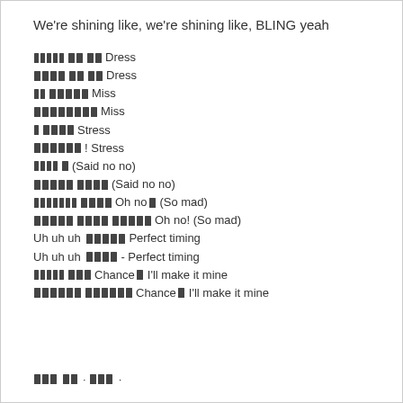We're shining like, we're shining like, BLING yeah
[Korean] Dress
[Korean] Dress
[Korean] Miss
[Korean] Miss
[Korean] Stress
[Korean]! Stress
[Korean] (Said no no)
[Korean] (Said no no)
[Korean] Oh no[Korean] (So mad)
[Korean] Oh no! (So mad)
Uh uh uh [Korean] Perfect timing
Uh uh uh [Korean]- Perfect timing
[Korean] Chance[Korean] I'll make it mine
[Korean] Chance[Korean] I'll make it mine
[Korean] ...